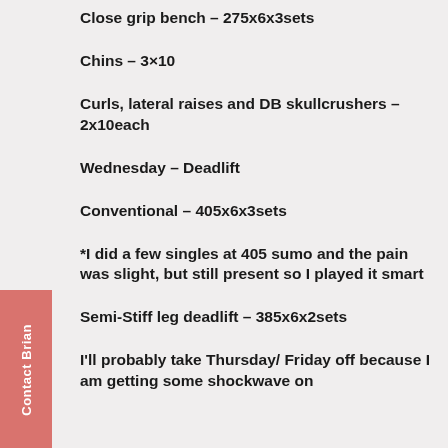Close grip bench – 275x6x3sets
Chins – 3×10
Curls, lateral raises and DB skullcrushers – 2x10each
Wednesday – Deadlift
Conventional – 405x6x3sets
*I did a few singles at 405 sumo and the pain was slight, but still present so I played it smart
Semi-Stiff leg deadlift – 385x6x2sets
I'll probably take Thursday/ Friday off because I am getting some shockwave on